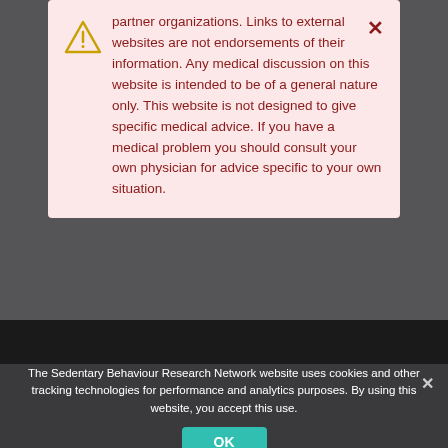partner organizations. Links to external websites are not endorsements of their information. Any medical discussion on this website is intended to be of a general nature only. This website is not designed to give specific medical advice. If you have a medical problem you should consult your own physician for advice specific to your own situation.
The Sedentary Behaviour Research Network website uses cookies and other tracking technologies for performance and analytics purposes. By using this website, you accept this use.